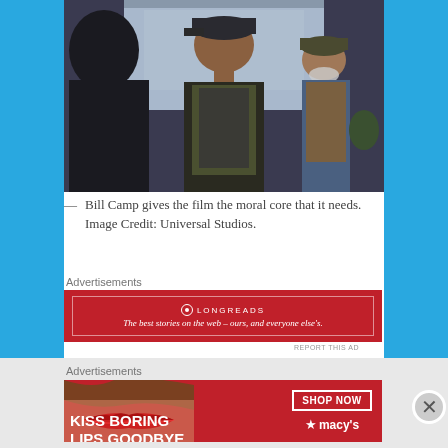[Figure (photo): Movie still showing three men in what appears to be an indoor setting. A large man wearing a dark cap and olive hoodie stands center frame, with a dark-jacketed figure partially visible on the left and a bearded man in a plaid shirt and denim jacket visible in the background right.]
— Bill Camp gives the film the moral core that it needs. Image Credit: Universal Studios.
Advertisements
[Figure (infographic): Longreads advertisement. Red background with Longreads logo and tagline: The best stories on the web – ours, and everyone else's.]
REPORT THIS AD
Advertisements
[Figure (infographic): Macy's advertisement. Red background with woman's lips photo on left, text KISS BORING LIPS GOODBYE, SHOP NOW button, and Macy's star logo on right.]
REPORT THIS AD